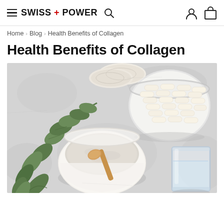SWISS + POWER
Home > Blog > Health Benefits of Collagen
Health Benefits of Collagen
[Figure (photo): Top-down view of collagen supplements including white powder in a bowl with a wooden spoon, white capsule pills in a glass bowl, circular sponge pads, green eucalyptus leaves, and a glass of water, all on a light grey stone surface.]